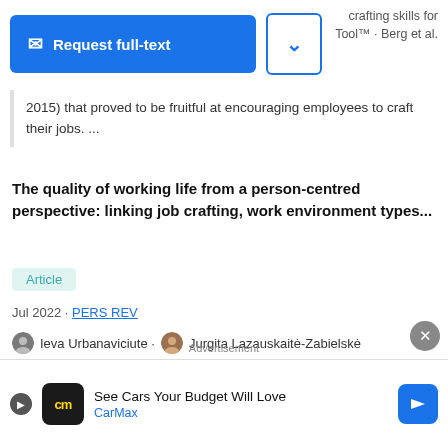[Figure (screenshot): Request full-text button (blue) and dropdown chevron button (blue outline) at top left. Faded background text visible at top right.]
2015) that proved to be fruitful at encouraging employees to craft their jobs. ...
The quality of working life from a person-centred perspective: linking job crafting, work environment types...
Article
Jul 2022 · PERS REV
Ieva Urbanaviciute · Jurgita Lazauskaitė-Zabielskė
[Figure (screenshot): Dark overlay showing hash string: a5675e4b4d6b4f64825f5 01016413bb0 with bracket icon in red and close X button]
following Tims et al. (2012) and Gordon et al. (2018), job resources (e.g. leadership, social support and feedback) initiate motivation-driven processes that predict job...
Advertisement
[Figure (screenshot): CarMax advertisement: See Cars Your Budget Will Love. CarMax brand with logo and blue arrow button.]